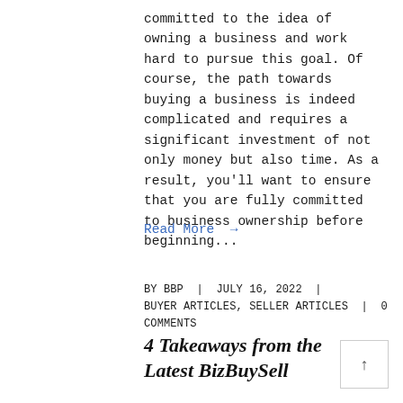committed to the idea of owning a business and work hard to pursue this goal. Of course, the path towards buying a business is indeed complicated and requires a significant investment of not only money but also time. As a result, you'll want to ensure that you are fully committed to business ownership before beginning...
Read More →
BY BBP | JULY 16, 2022 | BUYER ARTICLES, SELLER ARTICLES | 0 COMMENTS
4 Takeaways from the Latest BizBuySell